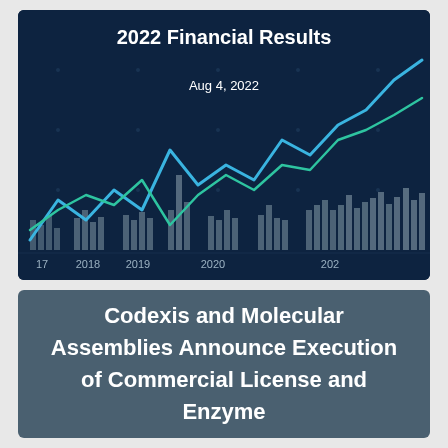[Figure (other): Financial results slide card with dark navy background showing two line charts (blue and green/teal lines trending upward) overlaid on a bar chart showing quarterly data from 2017 to 2021+. Title reads '2022 Financial Results' in bold white text. Date 'Aug 4, 2022' appears below the title. X-axis labels: 2017, 2018, 2019, 2020, 2021. Background has a subtle grid pattern with dot markers.]
Codexis and Molecular Assemblies Announce Execution of Commercial License and Enzyme